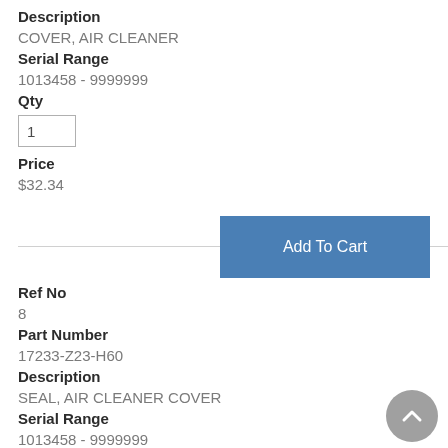Description
COVER, AIR CLEANER
Serial Range
1013458 - 9999999
Qty
1
Price
$32.34
[Figure (other): Add To Cart button]
Ref No
8
Part Number
17233-Z23-H60
Description
SEAL, AIR CLEANER COVER
Serial Range
1013458 - 9999999
Qty
1